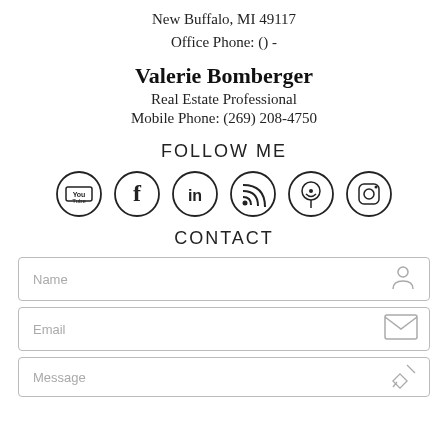New Buffalo, MI 49117
Office Phone: () -
Valerie Bomberger
Real Estate Professional
Mobile Phone: (269) 208-4750
FOLLOW ME
[Figure (infographic): Six social media icons in circles: YouTube, Facebook, LinkedIn, RSS, Pinterest, Instagram]
CONTACT
[Figure (infographic): Contact form with three fields: Name (with person icon), Email (with envelope icon), Message (with pencil icon)]